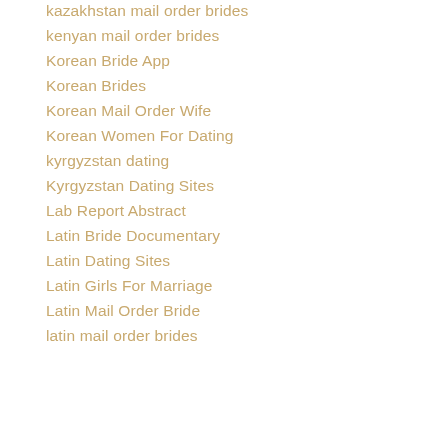kazakhstan mail order brides
kenyan mail order brides
Korean Bride App
Korean Brides
Korean Mail Order Wife
Korean Women For Dating
kyrgyzstan dating
Kyrgyzstan Dating Sites
Lab Report Abstract
Latin Bride Documentary
Latin Dating Sites
Latin Girls For Marriage
Latin Mail Order Bride
latin mail order brides